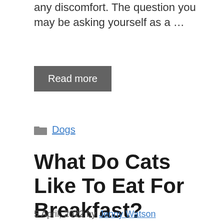any discomfort. The question you may be asking yourself as a …
Read more
Dogs
What Do Cats Like To Eat For Breakfast? [Benefits Risks]
5 April, 2022 by Jenny Watson